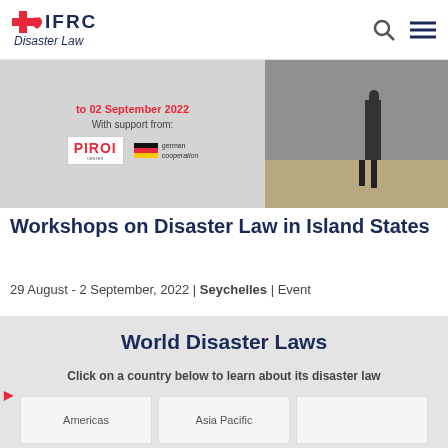IFRC Disaster Law
[Figure (infographic): Event banner showing PIROI and German Cooperation logos with date 29 August - 02 September 2022. Right side shows a photo of a person walking on a beach.]
Workshops on Disaster Law in Island States
29 August - 2 September, 2022 | Seychelles | Event
World Disaster Laws
Click on a country below to learn about its disaster law
[Figure (other): Three partially visible category cards at bottom: Americas, Asia Pacific, and a third region]